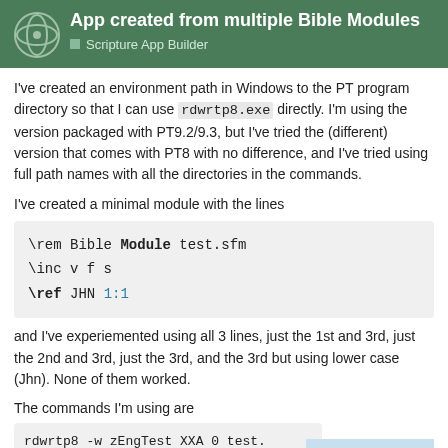App created from multiple Bible Modules
Scripture App Builder
I've created an environment path in Windows to the PT program directory so that I can use rdwrtp8.exe directly. I'm using the version packaged with PT9.2/9.3, but I've tried the (different) version that comes with PT8 with no difference, and I've tried using full path names with all the directories in the commands.
I've created a minimal module with the lines
\rem Bible Module test.sfm
\inc v f s
\ref JHN 1:1
and I've experiemented using all 3 lines, just the 1st and 3rd, just the 2nd and 3rd, just the 3rd, and the 3rd but using lower case (Jhn). None of them worked.
The commands I'm using are
rdwrtp8 -w zEngTest XXA 0 test.
rdwrtp8 -r zEngTest XXA 0 outpu
4 / 10